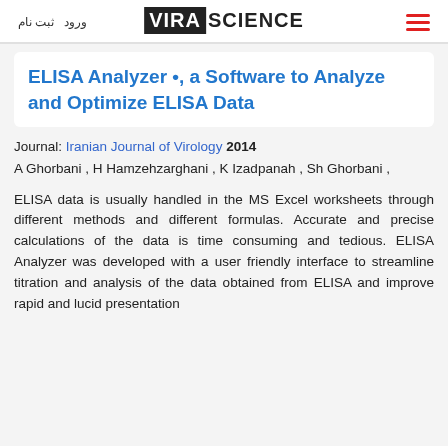ثبت نام  ورود  VIRA SCIENCE  ≡
ELISA Analyzer •, a Software to Analyze and Optimize ELISA Data
Journal: Iranian Journal of Virology 2014
A Ghorbani , H Hamzehzarghani , K Izadpanah , Sh Ghorbani ,
ELISA data is usually handled in the MS Excel worksheets through different methods and different formulas. Accurate and precise calculations of the data is time consuming and tedious. ELISA Analyzer was developed with a user friendly interface to streamline titration and analysis of the data obtained from ELISA and improve rapid and lucid presentation